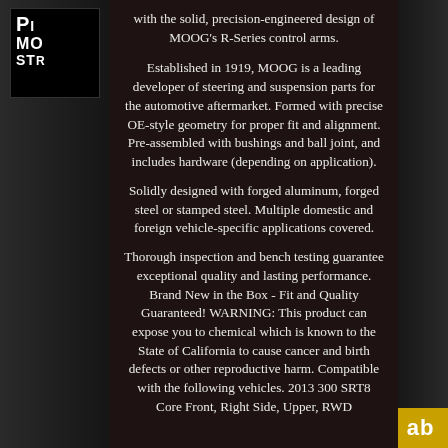with the solid, precision-engineered design of MOOG's R-Series control arms.
Established in 1919, MOOG is a leading developer of steering and suspension parts for the automotive aftermarket. Formed with precise OE-style geometry for proper fit and alignment. Pre-assembled with bushings and ball joint, and includes hardware (depending on application).
Solidly designed with forged aluminum, forged steel or stamped steel. Multiple domestic and foreign vehicle-specific applications covered.
Thorough inspection and bench testing guarantee exceptional quality and lasting performance. Brand New in the Box - Fit and Quality Guaranteed! WARNING: This product can expose you to chemical which is known to the State of California to cause cancer and birth defects or other reproductive harm. Compatible with the following vehicles. 2013 300 SRT8 Core Front, Right Side, Upper, RWD